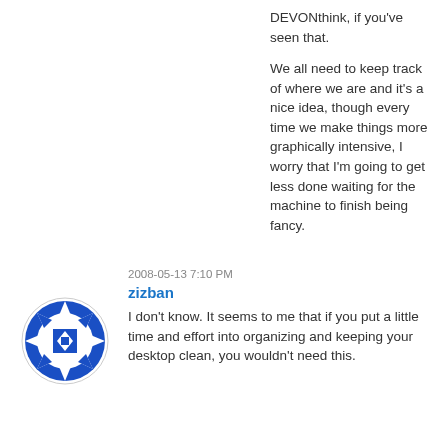DEVONthink, if you've seen that.

We all need to keep track of where we are and it's a nice idea, though every time we make things more graphically intensive, I worry that I'm going to get less done waiting for the machine to finish being fancy.
2008-05-13 7:10 PM
zizban
I don't know. It seems to me that if you put a little time and effort into organizing and keeping your desktop clean, you wouldn't need this.